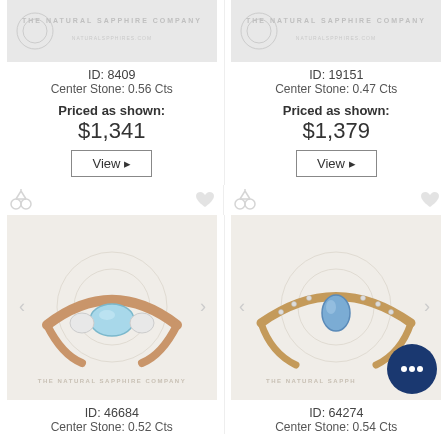[Figure (photo): Ring product photo with watermark - The Natural Sapphire Company, top left]
ID: 8409
Center Stone: 0.56 Cts
Priced as shown:
$1,341
View
[Figure (photo): Ring product photo with watermark - The Natural Sapphire Company, top right]
ID: 19151
Center Stone: 0.47 Cts
Priced as shown:
$1,379
View
[Figure (photo): Rose gold ring with light blue sapphire center stone and diamond accents - ID 46684]
ID: 46684
Center Stone: 0.52 Cts
[Figure (photo): Rose gold ring with blue sapphire pear-shaped center stone and diamond band - ID 64274]
ID: 64274
Center Stone: 0.54 Cts